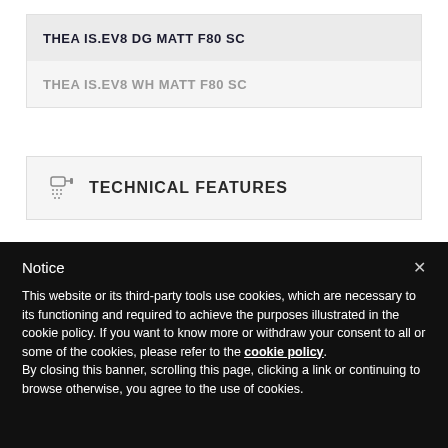THEA IS.EV8 DG MATT F80 SC
THEA IS.EV8 WH MATT F80 SC
TECHNICAL FEATURES
Notice
This website or its third-party tools use cookies, which are necessary to its functioning and required to achieve the purposes illustrated in the cookie policy. If you want to know more or withdraw your consent to all or some of the cookies, please refer to the cookie policy. By closing this banner, scrolling this page, clicking a link or continuing to browse otherwise, you agree to the use of cookies.